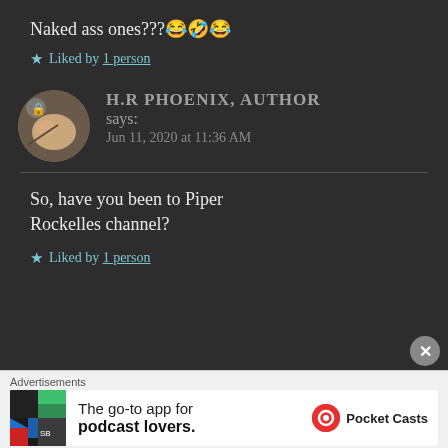Naked ass ones???😂🤣😂
★ Liked by 1 person
H.R PHOENIX, AUTHOR says:
Jun 11, 2020 at 11:36 AM
So, have you been to Piper Rockelles channel?
★ Liked by 1 person
Advertisements
The go-to app for podcast lovers. Pocket Casts